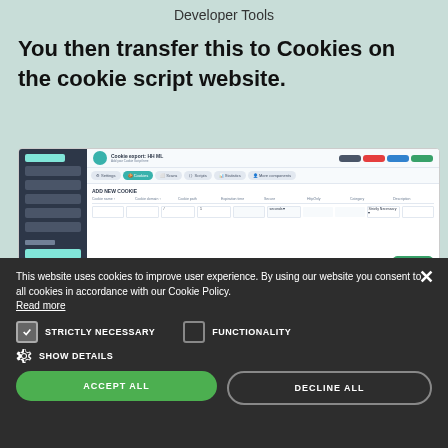Developer Tools
You then transfer this to Cookies on the cookie script website.
[Figure (screenshot): Screenshot of the Cookie Script website dashboard showing the Cookie export page with a form to add new cookies, including fields for Cookie name, Cookie domain, Cookie path, Expiration time, Secure, HttpOnly, Category, and Description. Navigation tabs include Settings, Cookies (active), Scans, Scripts, Statistics, and More components.]
This website uses cookies to improve user experience. By using our website you consent to all cookies in accordance with our Cookie Policy. Read more
STRICTLY NECESSARY
FUNCTIONALITY
SHOW DETAILS
ACCEPT ALL
DECLINE ALL